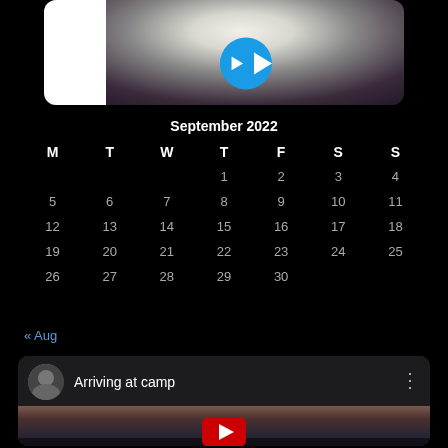[Figure (screenshot): Top portion showing a video thumbnail with cauliflower image and blue play button overlay]
| M | T | W | T | F | S | S |
| --- | --- | --- | --- | --- | --- | --- |
|  |  |  | 1 | 2 | 3 | 4 |
| 5 | 6 | 7 | 8 | 9 | 10 | 11 |
| 12 | 13 | 14 | 15 | 16 | 17 | 18 |
| 19 | 20 | 21 | 22 | 23 | 24 | 25 |
| 26 | 27 | 28 | 29 | 30 |  |  |
« Aug
[Figure (screenshot): YouTube video card showing 'Arriving at camp' with a mountain landscape thumbnail and YouTube play button]